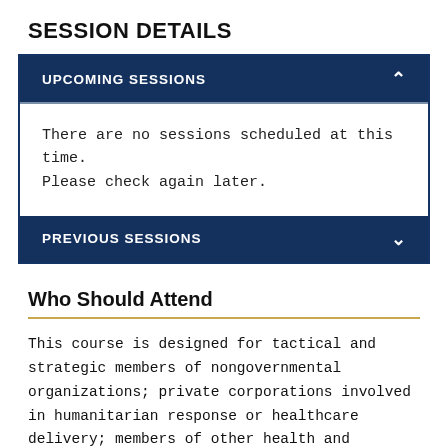SESSION DETAILS
UPCOMING SESSIONS
There are no sessions scheduled at this time. Please check again later.
PREVIOUS SESSIONS
Who Should Attend
This course is designed for tactical and strategic members of nongovernmental organizations; private corporations involved in humanitarian response or healthcare delivery; members of other health and humanitarian organizations; local, state, or federal